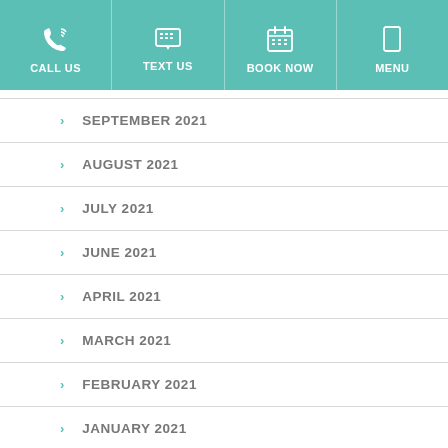CALL US | TEXT US | BOOK NOW | MENU
SEPTEMBER 2021
AUGUST 2021
JULY 2021
JUNE 2021
APRIL 2021
MARCH 2021
FEBRUARY 2021
JANUARY 2021